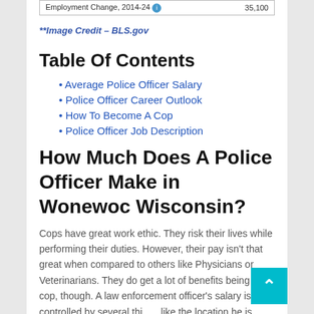| Employment Change, 2014-24 |  |
| --- | --- |
| Employment Change, 2014-24 | 35,100 |
**Image Credit – BLS.gov
Table Of Contents
Average Police Officer Salary
Police Officer Career Outlook
How To Become A Cop
Police Officer Job Description
How Much Does A Police Officer Make in Wonewoc Wisconsin?
Cops have great work ethic. They risk their lives while performing their duties. However, their pay isn't that great when compared to others like Physicians or Veterinarians. They do get a lot of benefits being a cop, though. A law enforcement officer's salary is controlled by several things like the location he is working in, how many hours he/she works, and what unit he is working under. Now we will use